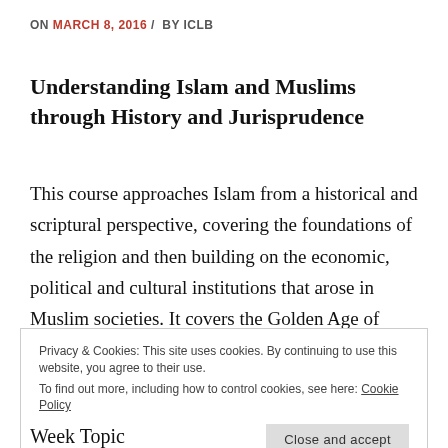ON MARCH 8, 2016 / BY ICLB
Understanding Islam and Muslims through History and Jurisprudence
This course approaches Islam from a historical and scriptural perspective, covering the foundations of the religion and then building on the economic, political and cultural institutions that arose in Muslim societies. It covers the Golden Age of Muslim civilization and then discusses its decline. Contemporary issues faced
Privacy & Cookies: This site uses cookies. By continuing to use this website, you agree to their use.
To find out more, including how to control cookies, see here: Cookie Policy
Close and accept
Week Topic